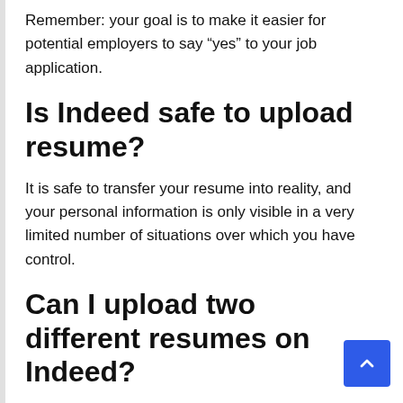Remember: your goal is to make it easier for potential employers to say “yes” to your job application.
Is Indeed safe to upload resume?
It is safe to transfer your resume into reality, and your personal information is only visible in a very limited number of situations over which you have control.
Can I upload two different resumes on Indeed?